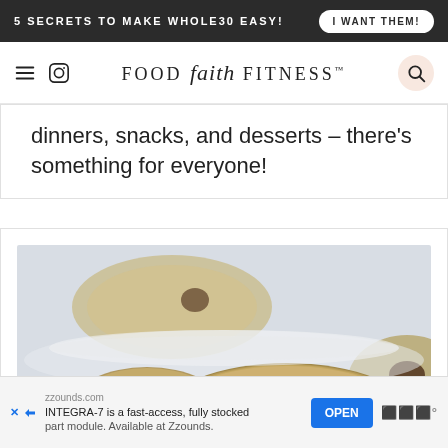5 SECRETS TO MAKE WHOLE30 EASY! | I WANT THEM!
FOOD faith FITNESS
dinners, snacks, and desserts – there's something for everyone!
[Figure (photo): Close-up photograph of chocolate chip cookies on a white surface, showing multiple cookies with dark chocolate chips, slightly out of focus in the background.]
zzounds.com INTEGRA-7 is a fast-access, fully stocked part module. Available at Zzounds. OPEN